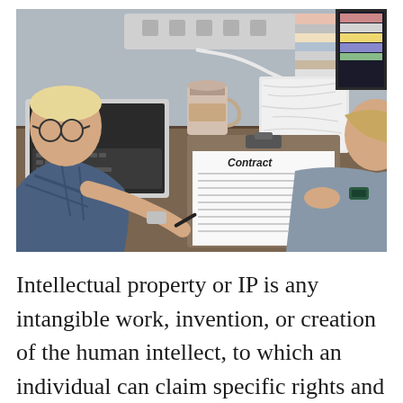[Figure (photo): Two people sitting at a wooden desk reviewing a contract on a clipboard. The person on the left wears a blue plaid shirt and glasses, holding a pen. The person on the right wears a gray sweater and points at the contract. A laptop, coffee cup, and other office items are on the desk.]
Intellectual property or IP is any intangible work, invention, or creation of the human intellect, to which an individual can claim specific rights and property, for which he can use